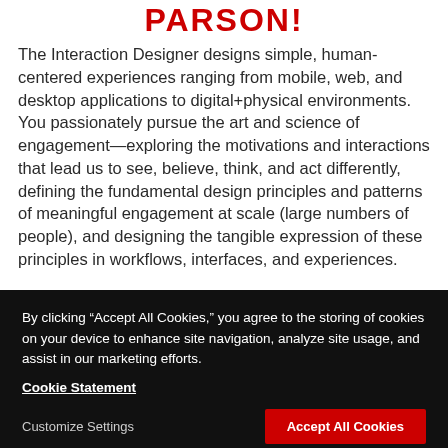PARSON!
The Interaction Designer designs simple, human-centered experiences ranging from mobile, web, and desktop applications to digital+physical environments. You passionately pursue the art and science of engagement—exploring the motivations and interactions that lead us to see, believe, think, and act differently, defining the fundamental design principles and patterns of meaningful engagement at scale (large numbers of people), and designing the tangible expression of these principles in workflows, interfaces, and experiences.
By clicking “Accept All Cookies,” you agree to the storing of cookies on your device to enhance site navigation, analyze site usage, and assist in our marketing efforts.
Cookie Statement
Customize Settings
Accept All Cookies